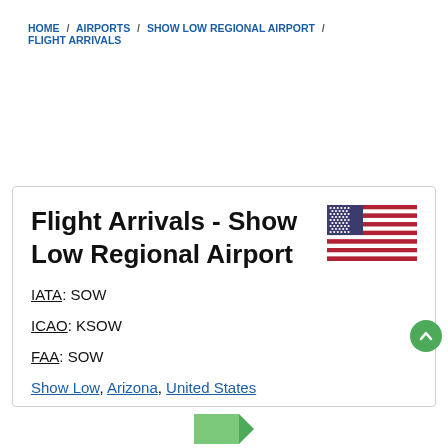HOME / AIRPORTS / SHOW LOW REGIONAL AIRPORT / FLIGHT ARRIVALS
Flight Arrivals - Show Low Regional Airport
IATA: SOW
ICAO: KSOW
FAA: SOW
Show Low, Arizona, United States